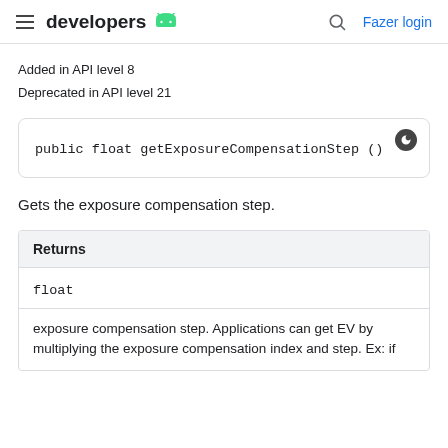developers | Fazer login
Added in API level 8
Deprecated in API level 21
public float getExposureCompensationStep ()
Gets the exposure compensation step.
| Returns |
| --- |
| float |
| exposure compensation step. Applications can get EV by multiplying the exposure compensation index and step. Ex: if |